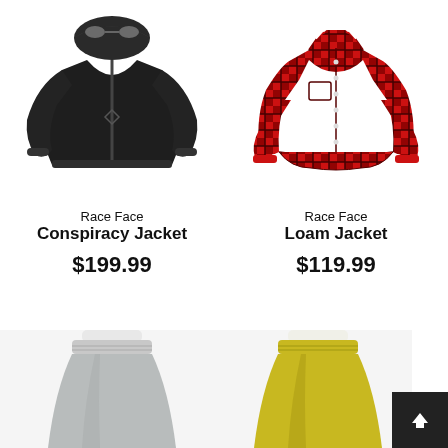[Figure (photo): Black Race Face Conspiracy Jacket with hood, front zip, photographed on invisible mannequin against white background]
Race Face
Conspiracy Jacket
$199.99
[Figure (photo): Red and black plaid/flannel Race Face Loam Jacket (long sleeve shirt-style jacket) on invisible mannequin against white background]
Race Face
Loam Jacket
$119.99
[Figure (photo): Light grey elastic-waist skirt on mannequin torso, white background, partially cropped at bottom of page]
[Figure (photo): Yellow elastic-waist skirt on mannequin torso, white background, partially cropped at bottom of page]